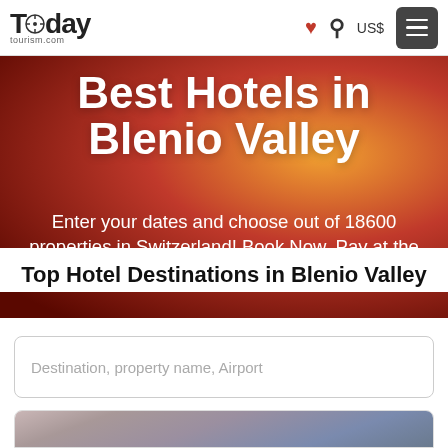Today tourism.com — navigation bar with logo, heart icon, search icon, US$ currency, menu button
Best Hotels in Blenio Valley
Enter your dates and choose out of 18600 properties in Switzerland! Book Now, Pay at the Hotel. Instant Email Confirmation
Top Hotel Destinations in Blenio Valley
Destination, property name, Airport
[Figure (photo): Blurred outdoor mountain landscape photo at bottom of page]